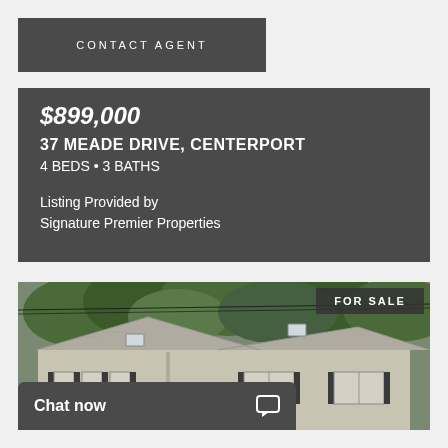CONTACT AGENT
$899,000
37 MEADE DRIVE, CENTERPORT
4 BEDS • 3 BATHS
Listing Provided by
Signature Premier Properties
[Figure (photo): Exterior photo of a split-level residential home with gray siding, black shutters, two skylights, and brick garage entrance. Trees visible in background. FOR SALE badge in upper right corner.]
FOR SALE
Chat now